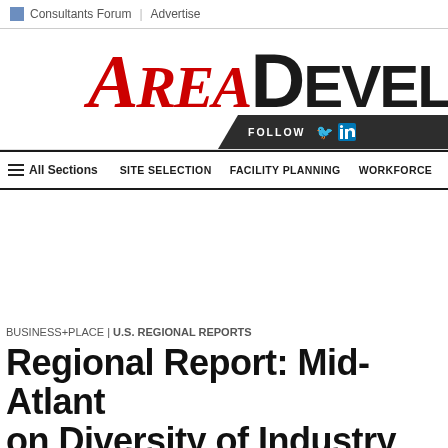Consultants Forum | Advertise
[Figure (logo): Area Development magazine logo with AREA in red italic serif and DEVEL in black bold sans-serif]
FOLLOW
All Sections  SITE SELECTION  FACILITY PLANNING  WORKFORCE
BUSINESS+PLACE | U.S. REGIONAL REPORTS
Regional Report: Mid-Atlantic on Diversity of Industry